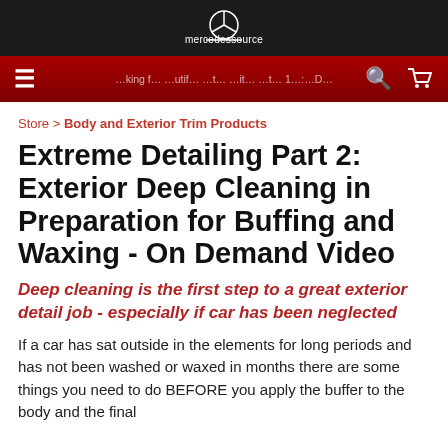[Figure (logo): Mercedessource logo with Mercedes-Benz style star icon above the text 'mercedessource' on dark background]
Store > Body and Exterior Trim Products
Extreme Detailing Part 2: Exterior Deep Cleaning in Preparation for Buffing and Waxing - On Demand Video
Deep cleaning is the first step to a great exterior detail job - especially if car has been neglected
If a car has sat outside in the elements for long periods and has not been washed or waxed in months there are some things you need to do BEFORE you apply the buffer to the body and the final